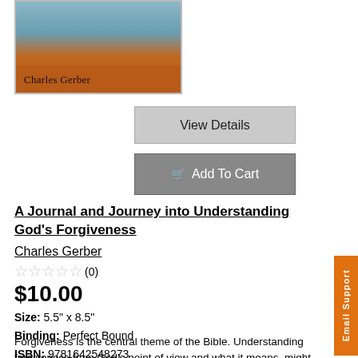[Figure (photo): Book cover with author name 'Charles Gerber' on an orange/brown band at bottom, scenic landscape at top]
View Details
Add To Cart
A Journal and Journey into Understanding God's Forgiveness
Charles Gerber
☆☆☆☆☆ (0)
$10.00
Size: 5.5" x 8.5"
Binding: Perfect Bound
ISBN: 9781642548273
Forgiveness is the central theme of the Bible. Understanding forgiveness from God's point of view and what it means, might be the most crucial aspect of being an Ambassador of Christ (2 Corinthians 5:20). Before you can teach forgiveness to the world,